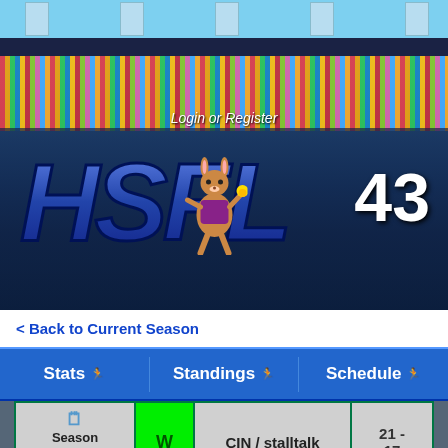[Figure (screenshot): HSFL Season 43 sports league website header banner with stadium crowd background, logo, mascot, and number 43]
Login or Register
< Back to Current Season
Stats | Standings | Schedule
| Week | Result | Opponent | Score |
| --- | --- | --- | --- |
| Season 21, Week 2 | W | CIN / stalltalk | 21 - 17 |
| Season 21, Week 1 | W | RAM / timbone666 | 21 - 7 |
| Season | W |  | 20 - |